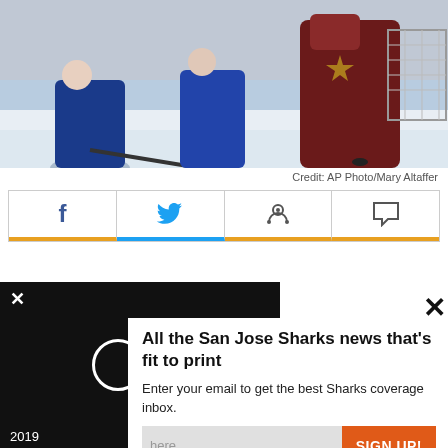[Figure (photo): Hockey game action photo showing players on ice, with a goalie and net visible on the right side. Players in blue and dark red/maroon uniforms.]
Credit: AP Photo/Mary Altaffer
[Figure (infographic): Social sharing bar with four buttons: Facebook (f), Twitter (bird icon), Reddit (alien icon), and Comment (speech bubble icon). Facebook and Twitter buttons have orange/blue bottom borders.]
After what was undoubtedly one of the most fun posts have Game With
All the San Jose Sharks news that's fit to print
Enter your email to get the best Sharks coverage inbox.
here
SIGN UP!
and take protecting it seriously
2019